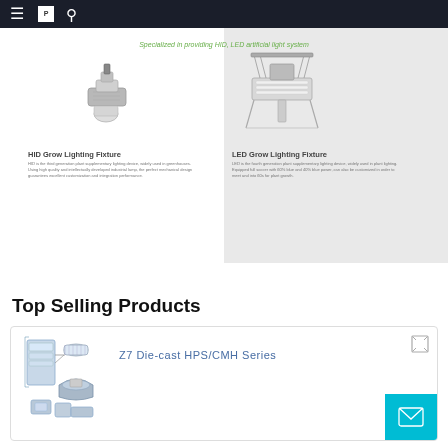Navigation bar with menu, logo, and search icons
[Figure (illustration): HID Grow Lighting Fixture product illustration - cylindrical grow light fixture in silver/gray]
Specialized in providing HID, LED artificial light system
HID Grow Lighting Fixture
HID is the third generation plant supplementary lighting device, widely used in greenhouses. Using high quality and intellectually developed industrial lamp, the perfect mechanical design guarantees excellent customization and integration performance.
[Figure (illustration): LED Grow Lighting Fixture product illustration - suspended LED panel grow light with stand]
LED Grow Lighting Fixture
LED is the fourth generation plant supplementary lighting device, widely used in plant lighting. Equipped full soccer with 60% blue and 40% blue power, can also be customized in order to meet and into 60s for plant growth.
Top Selling Products
[Figure (illustration): Z7 Die-cast HPS/CMH Series - industrial grow light fixture with ballast and lamp components diagram]
Z7 Die-cast HPS/CMH Series